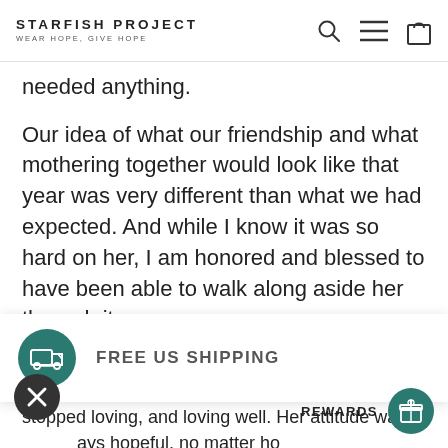STARFISH PROJECT — WEAR HOPE, GIVE HOPE
needed anything.
Our idea of what our friendship and what mothering together would look like that year was very different than what we had expected. And while I know it was so hard on her, I am honored and blessed to have been able to walk along aside her through it.
FREE US SHIPPING
stopped loving, and loving well. Her attitude was always hopeful, no matter how She told me once, that one d
REWARDS